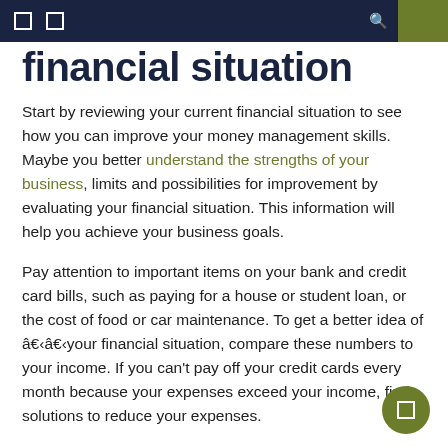financial situation
financial situation
Start by reviewing your current financial situation to see how you can improve your money management skills. Maybe you better understand the strengths of your business, limits and possibilities for improvement by evaluating your financial situation. This information will help you achieve your business goals.
Pay attention to important items on your bank and credit card bills, such as paying for a house or student loan, or the cost of food or car maintenance. To get a better idea of â€‹â€‹your financial situation, compare these numbers to your income. If you can't pay off your credit cards every month because your expenses exceed your income, find solutions to reduce your expenses.
2. Monitor your business...